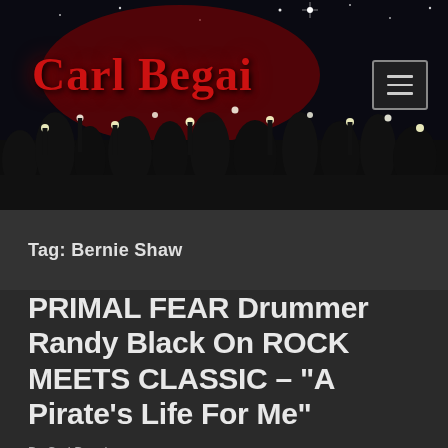[Figure (photo): Dark concert scene with crowd holding up lights/phones against a night sky, used as website header background]
Carl Begai
Tag: Bernie Shaw
PRIMAL FEAR Drummer Randy Black On ROCK MEETS CLASSIC – “A Pirate’s Life For Me”
By Carl Begai